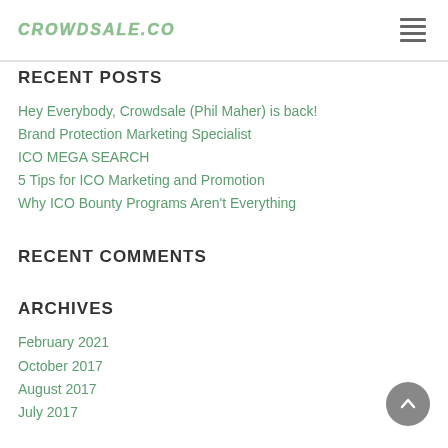CROWDSALE.CO
RECENT POSTS
Hey Everybody, Crowdsale (Phil Maher) is back!
Brand Protection Marketing Specialist
ICO MEGA SEARCH
5 Tips for ICO Marketing and Promotion
Why ICO Bounty Programs Aren't Everything
RECENT COMMENTS
ARCHIVES
February 2021
October 2017
August 2017
July 2017